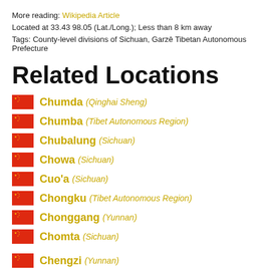More reading: Wikipedia Article
Located at 33.43 98.05 (Lat./Long.); Less than 8 km away
Tags: County-level divisions of Sichuan, Garzê Tibetan Autonomous Prefecture
Related Locations
Chumda (Qinghai Sheng)
Chumba (Tibet Autonomous Region)
Chubalung (Sichuan)
Chowa (Sichuan)
Cuo'a (Sichuan)
Chongku (Tibet Autonomous Region)
Chonggang (Yunnan)
Chomta (Sichuan)
Chengzi (Yunnan)
Chenggan (Yunnan)